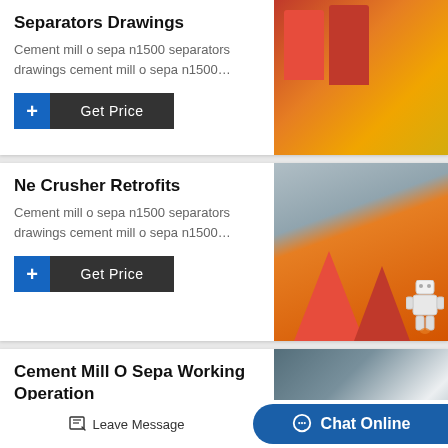Separators Drawings
Cement mill o sepa n1500 separators drawings cement mill o sepa n1500…
[Figure (photo): Orange and yellow industrial separator/mill cylinders stored in outdoor area]
+ Get Price
Ne Crusher Retrofits
Cement mill o sepa n1500 separators drawings cement mill o sepa n1500…
[Figure (photo): Orange cone crushers in industrial yard setting with trees in background]
+ Get Price
Cement Mill O Sepa Working Operation
[Figure (photo): Industrial mill separator equipment in warehouse/factory setting]
Leave Message    Chat Online